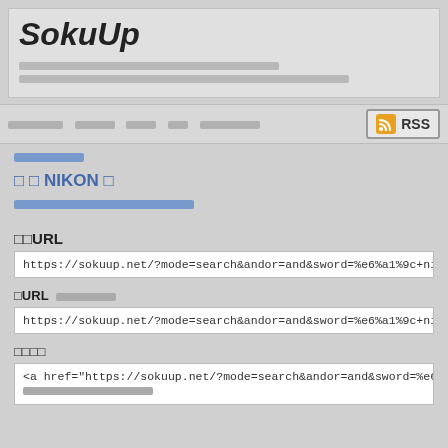SokuUp
[header placeholder text lines]
[navigation links] RSS
[category link]
□ □ NIKON □
[article description link]
□□URL
https://sokuup.net/?mode=search&andor=and&sword=%e6%a1%9c+nik
□URL □□□□□
https://sokuup.net/?mode=search&andor=and&sword=%e6%a1%9c+nik
□□□□
<a href="https://sokuup.net/?mode=search&andor=and&sword=%e6